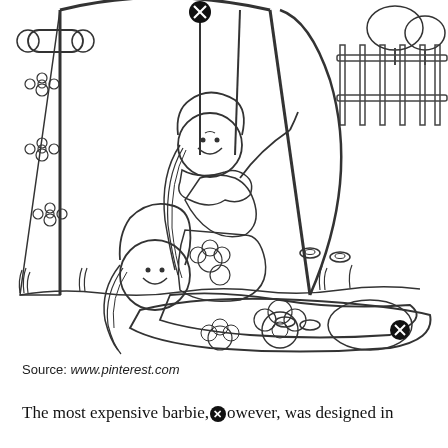[Figure (illustration): Black and white line-art coloring page illustration showing two cartoon girl dolls (resembling Barbie-style figures) playing outdoors near a decorative tent/canopy with flower patterns. One girl sits on a swing, the other lies on a sleeping bag or blanket decorated with flowers and circles. There is a fence and trees in the background. A close/delete icon (circled X) appears at the top center and another at the bottom left of the image area.]
Source: www.pinterest.com
The most expensive barbie, however, was designed in